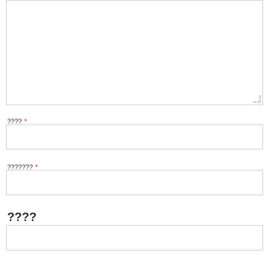[Figure (screenshot): Large textarea input box with resize handle at bottom-right, positioned at top of form]
???? *
[Figure (screenshot): Single-line text input field]
??????? *
[Figure (screenshot): Single-line text input field]
????
[Figure (screenshot): Single-line text input field]